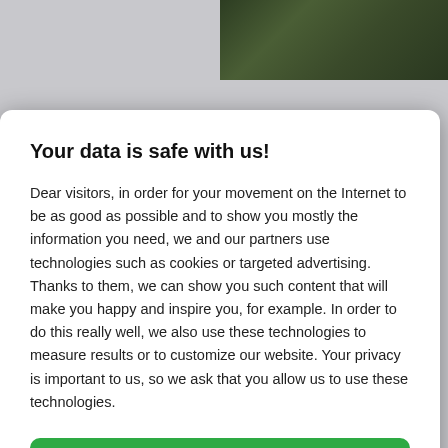[Figure (photo): Outdoor nature/vegetation photo strip at top of page]
Your data is safe with us!
Dear visitors, in order for your movement on the Internet to be as good as possible and to show you mostly the information you need, we and our partners use technologies such as cookies or targeted advertising. Thanks to them, we can show you such content that will make you happy and inspire you, for example. In order to do this really well, we also use these technologies to measure results or to customize our website. Your privacy is important to us, so we ask that you allow us to use these technologies.
Accept
Deny
Set